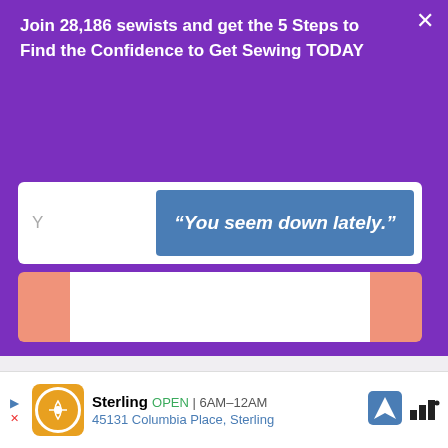Join 28,186 sewists and get the 5 Steps to Find the Confidence to Get Sewing TODAY
[Figure (screenshot): Popup modal overlay with purple background, white input field, blue quote box saying "You seem down lately.", and salmon-colored button areas]
[Figure (screenshot): Advertisement bar at bottom: Sterling, OPEN 6AM-12AM, 45131 Columbia Place, Sterling]